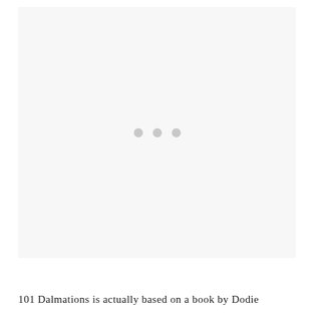[Figure (other): A light gray placeholder image area with three small gray dots centered in the middle, indicating a loading or placeholder state.]
101 Dalmations is actually based on a book by Dodie